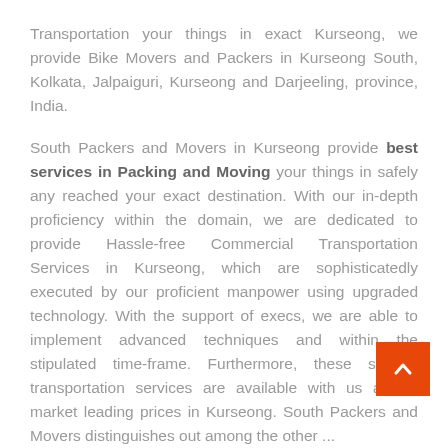Transportation your things in exact Kurseong, we provide Bike Movers and Packers in Kurseong South, Kolkata, Jalpaiguri, Kurseong and Darjeeling, province, India.
South Packers and Movers in Kurseong provide best services in Packing and Moving your things in safely any reached your exact destination. With our in-depth proficiency within the domain, we are dedicated to provide Hassle-free Commercial Transportation Services in Kurseong, which are sophisticatedly executed by our proficient manpower using upgraded technology. With the support of execs, we are able to implement advanced techniques and within the stipulated time-frame. Furthermore, these speedy transportation services are available with us at the market leading prices in Kurseong. South Packers and Movers distinguishes out among the other...